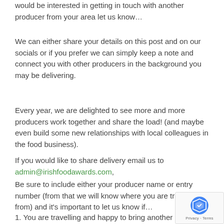would be interested in getting in touch with another producer from your area let us know…
We can either share your details on this post and on our socials or if you prefer we can simply keep a note and connect you with other producers in the background you may be delivering.
Every year, we are delighted to see more and more producers work together and share the load! (and maybe even build some new relationships with local colleagues in the food business).
If you would like to share delivery email us to admin@irishfoodawards.com,
Be sure to include either your producer name or entry number (from that we will know where you are travelling from) and it's important to let us know if…
1. You are travelling and happy to bring another producers